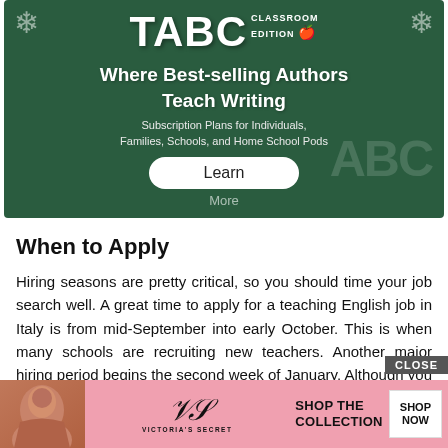[Figure (illustration): Advertisement for TABC Classroom Edition - 'Where Best-selling Authors Teach Writing' with green chalkboard background, showing subscription plans for Individuals, Families, Schools, and Home School Pods, with a 'Learn' button and 'More' text below.]
When to Apply
Hiring seasons are pretty critical, so you should time your job search well. A great time to apply for a teaching English job in Italy is from mid-September into early October. This is when many schools are recruiting new teachers. Another major hiring period begins the second week of January. Although you may emplo period
[Figure (illustration): Victoria's Secret advertisement banner with pink background showing a model, VS logo, 'Shop the Collection' text, and 'Shop Now' button, with a 'CLOSE' button overlay.]